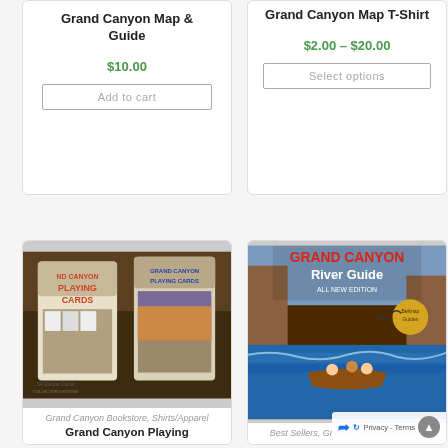Grand Canyon Map & Guide
$10.00
Add to cart
Grand Canyon Map T-Shirt
$2.00 – $20.00
Select options
[Figure (photo): Two boxes of Grand Canyon Playing Cards on a wooden table]
Grand Canyon Bookstore, Shirts/Apparel
Grand Canyon Playing
[Figure (photo): Cover of Grand Canyon River Guide book - All New Edition, showing people in a canoe on rapids]
Best Sellers, Grand Canyon Bookstore